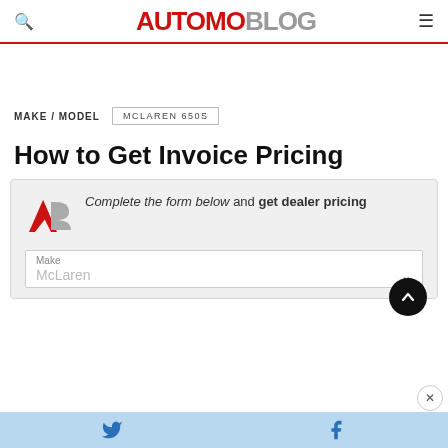AUTOMOBLOG
MAKE / MODEL   MCLAREN 650S
How to Get Invoice Pricing
Complete the form below and get dealer pricing
Make
McLaren